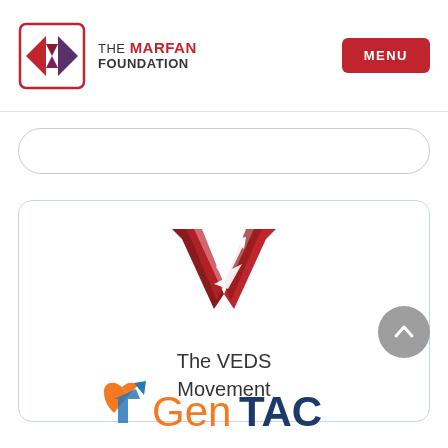[Figure (logo): The Marfan Foundation logo with diamond/bow-tie icon and text THE MARFAN FOUNDATION]
[Figure (logo): MENU button in red rectangle]
[Figure (logo): The VEDS Movement logo - dark red V-chevron with arrow, inside a rounded card with text 'The VEDS Movement']
[Figure (logo): GenTAC logo at bottom - orange heart/arrow icon with Gen in orange and TAC in blue text]